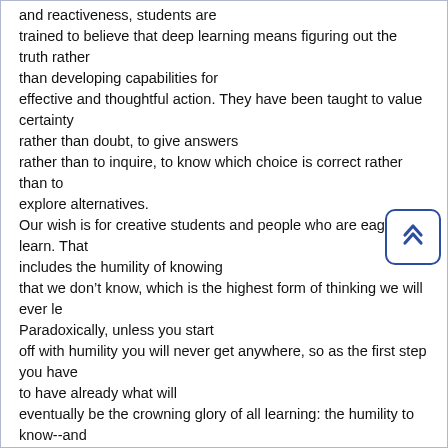and reactiveness, students are trained to believe that deep learning means figuring out the truth rather than developing capabilities for effective and thoughtful action. They have been taught to value certainty rather than doubt, to give answers rather than to inquire, to know which choice is correct rather than to explore alternatives. Our wish is for creative students and people who are eager to learn. That includes the humility of knowing that we don't know, which is the highest form of thinking we will ever learn. Paradoxically, unless you start off with humility you will never get anywhere, so as the first step you have to have already what will eventually be the crowning glory of all learning: the humility to know--and admit--that you don't know and not be afraid to find out.
IN SUMMARY
Drawn from research on human effectiveness, descriptions of remarkable performers, and analyses of the characteristics of efficacious people, we have presented descriptions of sixteen Habits of Mind. This list is not meant to be complete but rather to serve as a starting point for further